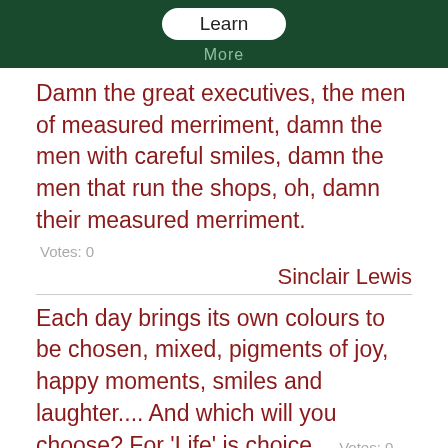[Figure (screenshot): Dark green banner with a white rounded 'Learn' button and 'More' text below]
Damn the great executives, the men of measured merriment, damn the men with careful smiles, damn the men that run the shops, oh, damn their measured merriment.
Votes: 0
Sinclair Lewis
Each day brings its own colours to be chosen, mixed, pigments of joy, happy moments, smiles and laughter.... And which will you choose? For 'Life' is choice...
Votes: 0
John McLeod
I learned the truth at seventeen, That love was meant for beauty queens, And high school girls